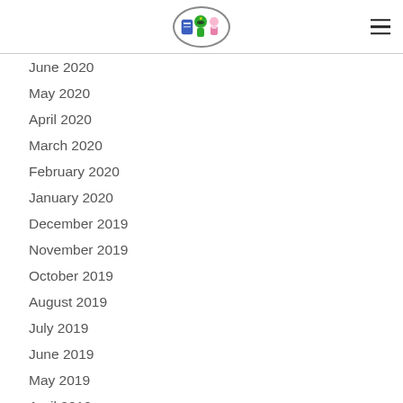[Figure (logo): Oval logo with cartoon characters including a person in green helmet and pink character]
June 2020
May 2020
April 2020
March 2020
February 2020
January 2020
December 2019
November 2019
October 2019
August 2019
July 2019
June 2019
May 2019
April 2019
March 2019
February 2019